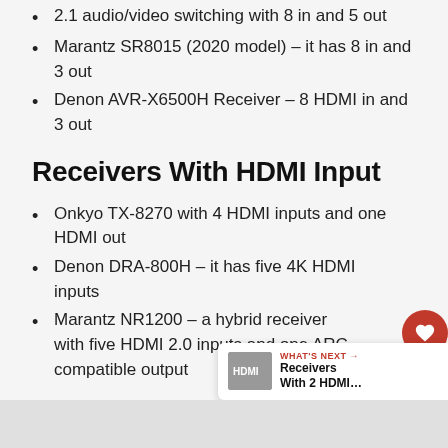2.1 audio/video switching with 8 in and 5 out
Marantz SR8015 (2020 model) – it has 8 in and 3 out
Denon AVR-X6500H Receiver – 8 HDMI in and 3 out
Receivers With HDMI Input
Onkyo TX-8270 with 4 HDMI inputs and one HDMI out
Denon DRA-800H – it has five 4K HDMI inputs
Marantz NR1200 – a hybrid receiver with five HDMI 2.0 inputs and one ARC- compatible output